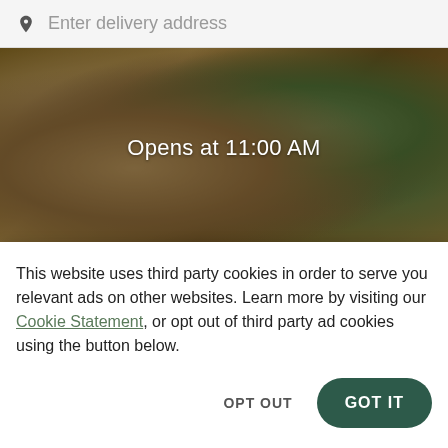Enter delivery address
[Figure (photo): Food dishes on a wooden table with a dark overlay, showing Thai cuisine including plates with meat and vegetables garnished with tomatoes and greens]
Opens at 11:00 AM
Basil Thai Cuisine
New
This website uses third party cookies in order to serve you relevant ads on other websites. Learn more by visiting our Cookie Statement, or opt out of third party ad cookies using the button below.
OPT OUT
GOT IT